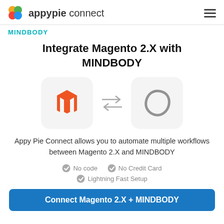appypie connect
MINDBODY
Integrate Magento 2.X with MINDBODY
[Figure (logo): Magento 2.X logo and MINDBODY logo with bidirectional arrows between them]
Appy Pie Connect allows you to automate multiple workflows between Magento 2.X and MINDBODY
No code
No Credit Card
Lightning Fast Setup
Connect Magento 2.X + MINDBODY